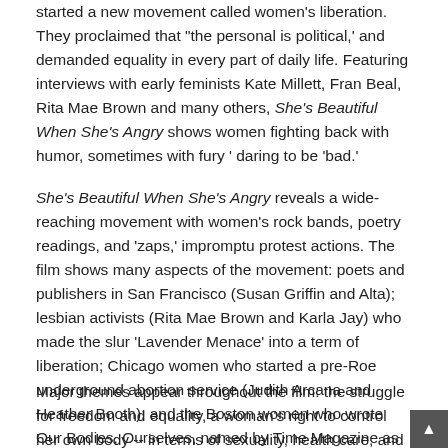started a new movement called women's liberation. They proclaimed that "the personal is political,' and demanded equality in every part of daily life. Featuring interviews with early feminists Kate Millett, Fran Beal, Rita Mae Brown and many others, She's Beautiful When She's Angry shows women fighting back with humor, sometimes with fury ' daring to be 'bad.'
She's Beautiful When She's Angry reveals a wide-reaching movement with women's rock bands, poetry readings, and 'zaps,' impromptu protest actions. The film shows many aspects of the movement: poets and publishers in San Francisco (Susan Griffin and Alta); lesbian activists (Rita Mae Brown and Karla Jay) who made the slur 'Lavender Menace' into a term of liberation; Chicago women who started a pre-Roe underground abortion service (Judith Arcana and Heather Booth); and the Boston women who wrote Our Bodies, Ourselves, named by Time Magazine as one of the most important books of the 20th century. The film shows many strands of early feminism, including the voices of women of color and struggles over issues of class and lesbian rights.
Major themes appear throughout the film: the struggle for freedom and equality, a woman's right to control her own body -- in terms of sexuality, health care, and reproductive rights. She's Beautiful also relates to current d... issues and concerns, representing the issues of many feminist...